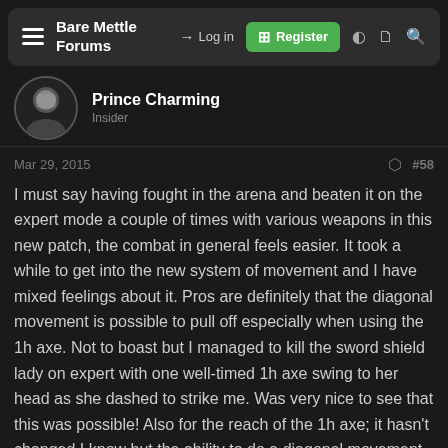Bare Mettle Forums — Log in | Register
Prince Charming
Insider
Mar 29, 2015  #58
I must say having fought in the arena and beaten it on the expert mode a couple of times with various weapons in this new patch, the combat in general feels easier. It took a while to get into the new system of movement and I have mixed feelings about it. Pros are definitely that the diagonal movement is possible to pull off especially when using the 1h axe. Not to boast but I managed to kill the sword shield lady on expert with one well-timed 1h axe swing to her head as she dashed to strike me. Was very nice to see that this was possible! Also for the reach of the 1h axe; it hasn't changed I know but the ability to do a diagonal movement has made it significantly easier to connect your swings. ^^ With this in mind, also the possibility of very close combat to do massive damage with every swing. After some practice the movement feels fluid if you dont constantly press